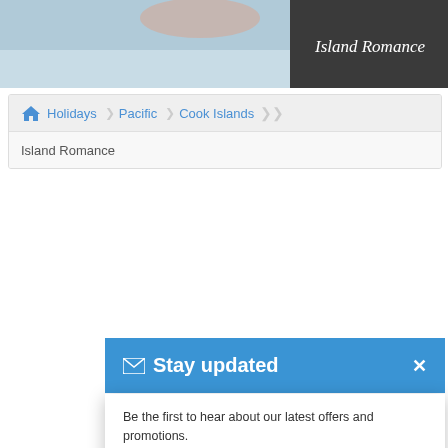[Figure (photo): Header image showing a beach scene with 'Island Romance' text on dark band at right]
Holidays  Pacific  Cook Islands  Island Romance
Stay updated
Be the first to hear about our latest offers and promotions.
Your e-mail address
SUBSCRIBE
View our Privacy Policy
This website uses and Google Analytics tracking to ensure you get the best experience on our website. Learn more
$7,6
10 nights
Cook Island ... More
Pacific
Got it!